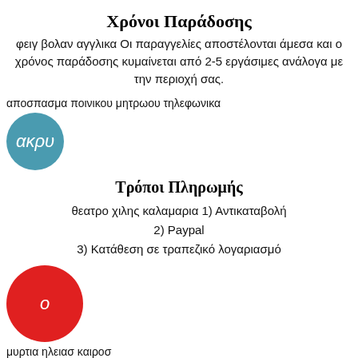Χρόνοι Παράδοσης
φειγ βολαν αγγλικα Οι παραγγελίες αποστέλονται άμεσα και ο χρόνος παράδοσης κυμαίνεται από 2-5 εργάσιμες ανάλογα με την περιοχή σας.
αποσπασμα ποινικου μητρωου τηλεφωνικα
[Figure (logo): Teal circular logo with Greek italic text 'ακρυ']
Τρόποι Πληρωμής
θεατρο χιλης καλαμαρια 1) Αντικαταβολή
2) Paypal
3) Κατάθεση σε τραπεζικό λογαριασμό
[Figure (logo): Red circular logo with white italic letter 'ο']
μυρτια ηλειασ καιροσ
ΧΥΜΑ ΑΡΩΜΑΤΑ